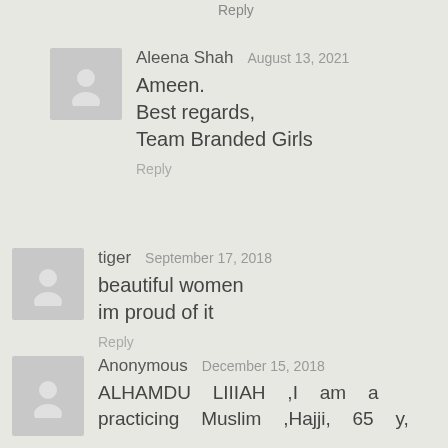Reply
Aleena Shah   August 13, 2021
Ameen.
Best regards,
Team Branded Girls
Reply
tiger   September 17, 2018
beautiful women
im proud of it
Reply
Anonymous   December 15, 2018
ALHAMDU LIIIAH ,I am a practicing Muslim ,Hajji, 65 y,